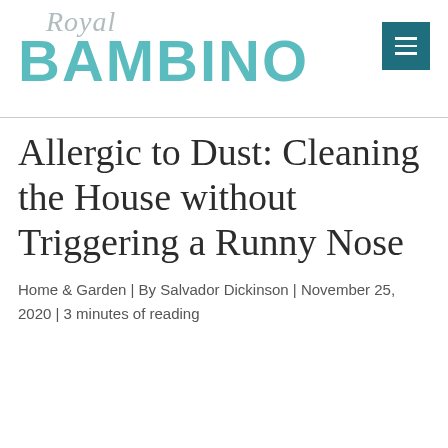Royal BAMBINO
Allergic to Dust: Cleaning the House without Triggering a Runny Nose
Home & Garden | By Salvador Dickinson | November 25, 2020 | 3 minutes of reading